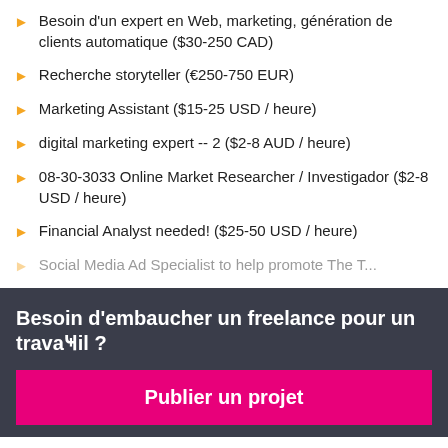Besoin d'un expert en Web, marketing, génération de clients automatique ($30-250 CAD)
Recherche storyteller (€250-750 EUR)
Marketing Assistant ($15-25 USD / heure)
digital marketing expert -- 2 ($2-8 AUD / heure)
08-30-3033 Online Market Researcher / Investigador ($2-8 USD / heure)
Financial Analyst needed! ($25-50 USD / heure)
Social Media Ad Specialist to help promote The T...
Besoin d'embaucher un freelance pour un travail ?
Publier un projet